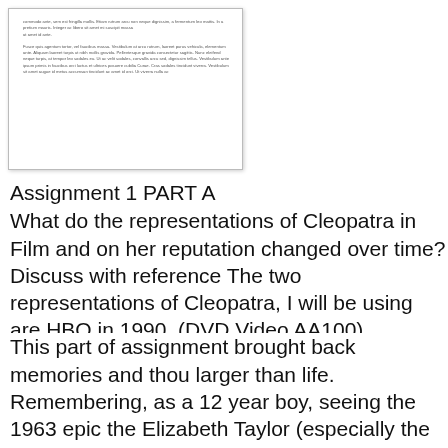[Figure (other): Thumbnail image of a document page showing Lorem ipsum placeholder text in small font, displayed inside a bordered white box with slight shadow]
Assignment 1 PART A
What do the representations of Cleopatra in Film and on her reputation changed over time? Discuss with reference The two representations of Cleopatra, I will be using are HBO in 1990. (DVD Video AA100)
This part of assignment brought back memories and thou larger than life.
Remembering, as a 12 year boy, seeing the 1963 epic the Elizabeth Taylor (especially the bath scene) was a part of grandeur of the scenes was still part of the culture of the culturally dominated by men.
The scene where Cleopatra commands Anthony to kneel later in the film as he left his command to follow Cleopatra The statement “men worked/fought and women stayed h